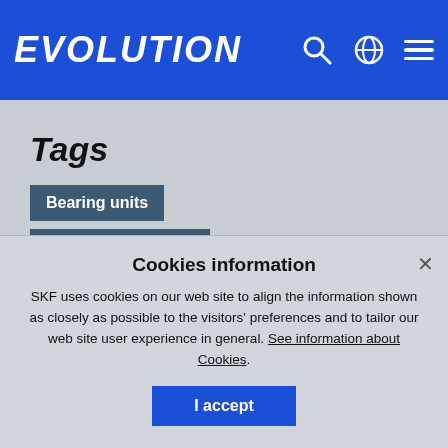EVOLUTION
Tags
Bearing units
Food and Beverage
Lubricants
Contact
Cookies information
SKF uses cookies on our web site to align the information shown as closely as possible to the visitors' preferences and to tailor our web site user experience in general. See information about Cookies.
I accept